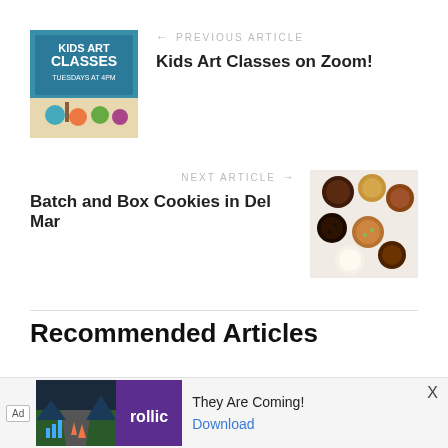[Figure (photo): Kids Art Classes thumbnail image showing art supplies and text 'KIDS ART CLASSES TUESDAYS AT 4PM']
← PREVIOUS ARTICLE
Kids Art Classes on Zoom!
NEXT ARTICLE →
Batch and Box Cookies in Del Mar
[Figure (photo): Assorted cookies on a white surface including chocolate and oatmeal varieties]
Recommended Articles
ON
—
AT HOME
[Figure (photo): 2017 Do What article thumbnail image]
[Figure (screenshot): Ad banner: Rollic game ad - They Are Coming! with Download button]